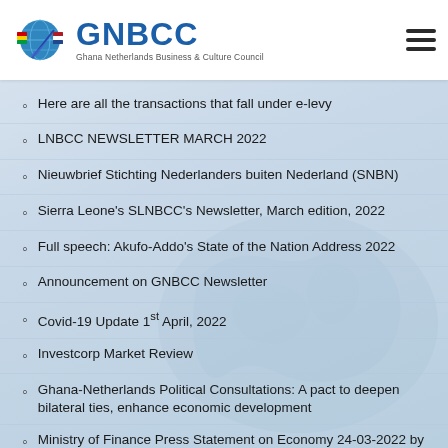GNBCC — Ghana Netherlands Business & Culture Council
Here are all the transactions that fall under e-levy
LNBCC NEWSLETTER MARCH 2022
Nieuwbrief Stichting Nederlanders buiten Nederland (SNBN)
Sierra Leone's SLNBCC's Newsletter, March edition, 2022
Full speech: Akufo-Addo's State of the Nation Address 2022
Announcement on GNBCC Newsletter
Covid-19 Update 1st April, 2022
Investcorp Market Review
Ghana-Netherlands Political Consultations: A pact to deepen bilateral ties, enhance economic development
Ministry of Finance Press Statement on Economy 24-03-2022 by Ken Ofori-Atta, Hon Minister of Finance.
GNBCC Digitalization Study - Dutch-Ghana Business Community